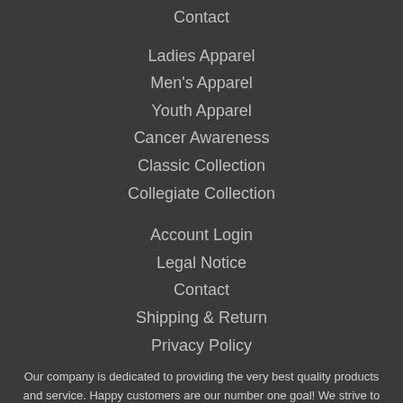Contact
Ladies Apparel
Men's Apparel
Youth Apparel
Cancer Awareness
Classic Collection
Collegiate Collection
Account Login
Legal Notice
Contact
Shipping & Return
Privacy Policy
Our company is dedicated to providing the very best quality products and service. Happy customers are our number one goal! We strive to be the best in the industry and innovate our products.
[Figure (logo): Small white arrow/chevron logo at the bottom center]